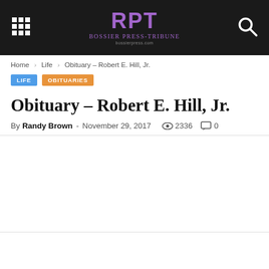RPT Bossier Press-Tribune
Home › Life › Obituary – Robert E. Hill, Jr.
LIFE   OBITUARIES
Obituary – Robert E. Hill, Jr.
By Randy Brown - November 29, 2017  2336  0